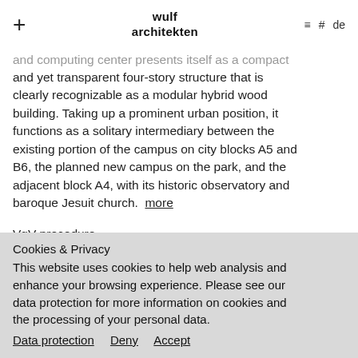+ wulf architekten ≡ # de
and computing center presents itself as a compact and yet transparent four-story structure that is clearly recognizable as a modular hybrid wood building. Taking up a prominent urban position, it functions as a solitary intermediary between the existing portion of the campus on city blocks A5 and B6, the planned new campus on the park, and the adjacent block A4, with its historic observatory and baroque Jesuit church. more
VgV procedure
10 2020
Client
Cookies & Privacy
This website uses cookies to help web analysis and enhance your browsing experience. Please see our data protection for more information on cookies and the processing of your personal data.
Data protection  Deny  Accept